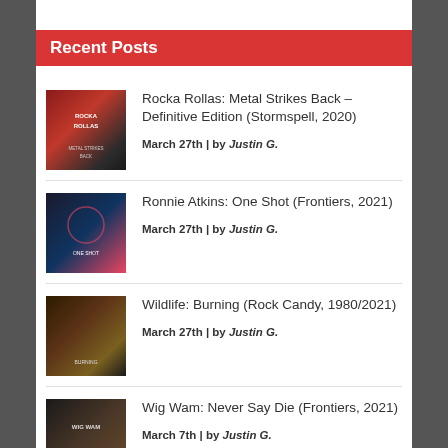Recent Posts
Rocka Rollas: Metal Strikes Back – Definitive Edition (Stormspell, 2020)
March 27th | by Justin G.
Ronnie Atkins: One Shot (Frontiers, 2021)
March 27th | by Justin G.
Wildlife: Burning (Rock Candy, 1980/2021)
March 27th | by Justin G.
Wig Wam: Never Say Die (Frontiers, 2021)
March 7th | by Justin G.
Durbin: The Beast Awakens (Frontiers, 2021)
March 7th | by Justin G.